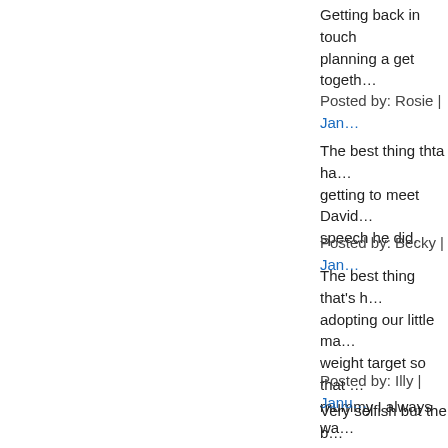Getting back in touch planning a get togeth…
Posted by: Rosie | Jan…
The best thing thta ha… getting to meet David… speech he did.
Posted by: Becky | Jan…
The best thing that's h… adopting our little ma… weight target so that … mummy I always wa…
Posted by: Illy | Janu…
Very selfish but the b… away to a Spa hotel f… massage, a bottle of c… us!) and lots of lovely… At the end of the 2 da… year - news of my de… nothing worse happe…